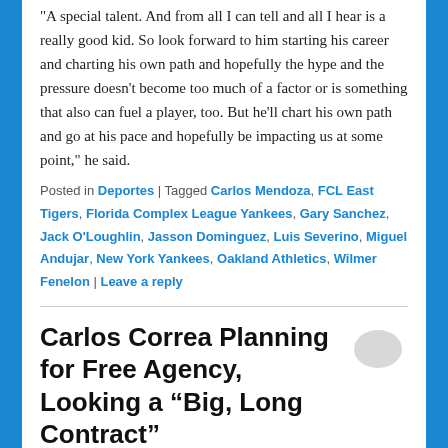"A special talent. And from all I can tell and all I hear is a really good kid. So look forward to him starting his career and charting his own path and hopefully the hype and the pressure doesn't become too much of a factor or is something that also can fuel a player, too. But he'll chart his own path and go at his pace and hopefully be impacting us at some point," he said.
Posted in Deportes | Tagged Carlos Mendoza, FCL East Tigers, Florida Complex League Yankees, Gary Sanchez, Jack O'Loughlin, Jasson Dominguez, Luis Severino, Miguel Andujar, New York Yankees, Oakland Athletics, Wilmer Fenelon | Leave a reply
Carlos Correa Planning for Free Agency, Looking a “Big, Long Contract”
Posted on April 2, 2021